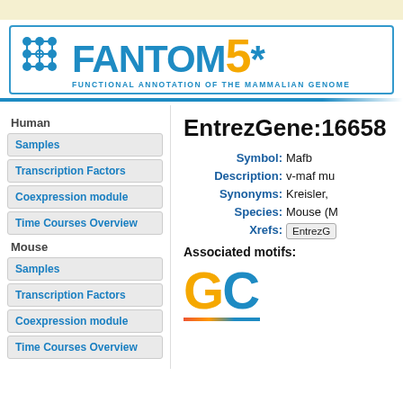[Figure (logo): FANTOM5 logo with blue network icon and text 'FANTOM5*' with subtitle 'FUNCTIONAL ANNOTATION OF THE MAMMALIAN GENOME']
Human
Samples
Transcription Factors
Coexpression module
Time Courses Overview
Mouse
Samples
Transcription Factors
Coexpression module
Time Courses Overview
EntrezGene:16658
Symbol: Mafb
Description: v-maf mu
Synonyms: Kreisler,
Species: Mouse (M
Xrefs: EntrezG
Associated motifs:
[Figure (logo): Partial GC logo in gold and blue colors with colored underline]